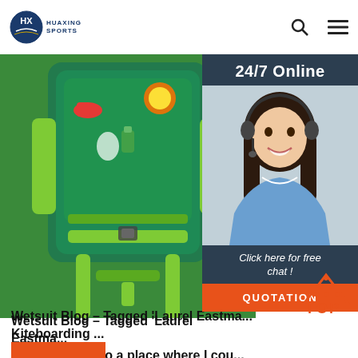HUAXING SPORTS
[Figure (photo): Green children's life vest / harness with colorful cartoon prints and lime green straps]
[Figure (photo): 24/7 Online customer service chat widget showing a smiling woman with headset]
Wetsuit Blog – Tagged 'Laurel Eastman Kiteboarding ...'
I wanted to go to a place where I cou... water women performing at their best in a variety of sports and conditions. Having lived in The Dominican Republic from 2009 - 2012 and predominantly on the north coast, I discover that this really is the Truli watersport and adventure wonderland of the Caribbean.